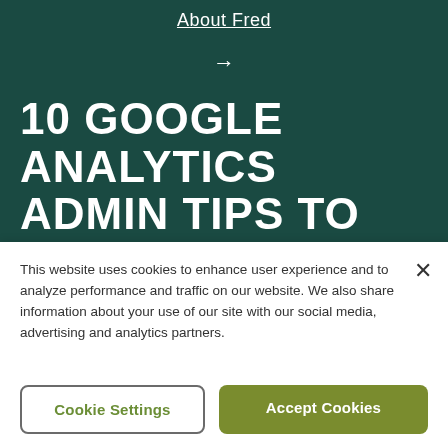About Fred
→
10 GOOGLE ANALYTICS ADMIN TIPS TO IMPROVE YOUR DATA COLLECTION
This website uses cookies to enhance user experience and to analyze performance and traffic on our website. We also share information about your use of our site with our social media, advertising and analytics partners.
Cookie Settings
Accept Cookies